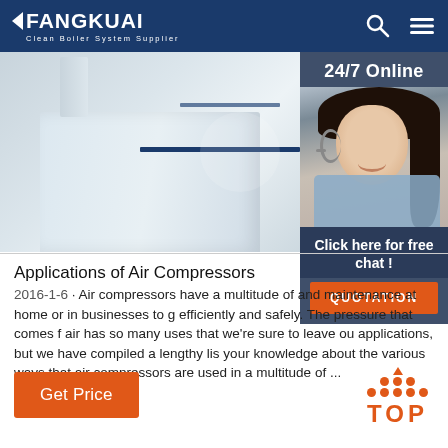FANGKUAI Clean Boiler System Supplier
[Figure (photo): 3D rendered image of a white industrial boiler unit, partial view from above/side angle showing the top and front panel with a dark blue accent strip]
[Figure (photo): 24/7 Online customer service panel showing a smiling female agent wearing a headset, with 'Click here for free chat!' text and an orange QUOTATION button]
Applications of Air Compressors
2016-1-6 · Air compressors have a multitude of and maintenance at home or in businesses to g efficiently and safely. The pressure that comes f air has so many uses that we're sure to leave ou applications, but we have compiled a lengthy lis your knowledge about the various ways that air compressors are used in a multitude of ...
Get Price
[Figure (other): Orange TOP button with orange dot pattern above the text, indicating scroll-to-top functionality]